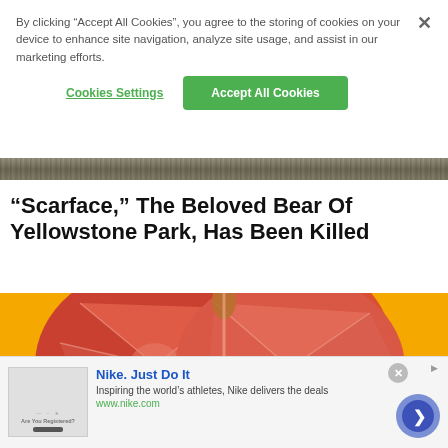By clicking “Accept All Cookies”, you agree to the storing of cookies on your device to enhance site navigation, analyze site usage, and assist in our marketing efforts.
Cookies Settings
Accept All Cookies
[Figure (photo): A narrow horizontal strip showing a nature/landscape scene, appearing to be a textured rocky or forest background image.]
"Scarface," The Beloved Bear Of Yellowstone Park, Has Been Killed
[Figure (photo): A cross-section of a grapefruit on a bright yellow/orange background, showing the red interior flesh of the fruit.]
Nike. Just Do It
Inspiring the world’s athletes, Nike delivers the deals
www.nike.com